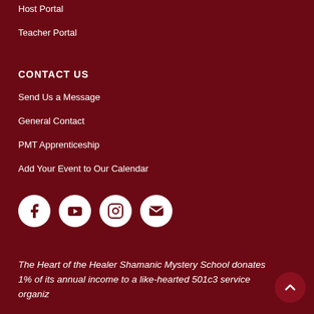Host Portal
Teacher Portal
CONTACT US
Send Us a Message
General Contact
PMT Apprenticeship
Add Your Event to Our Calendar
[Figure (infographic): Four white social media icon circles: Facebook, YouTube, Instagram, Email]
The Heart of the Healer Shamanic Mystery School donates 1% of its annual income to a like-hearted 501c3 service organization.